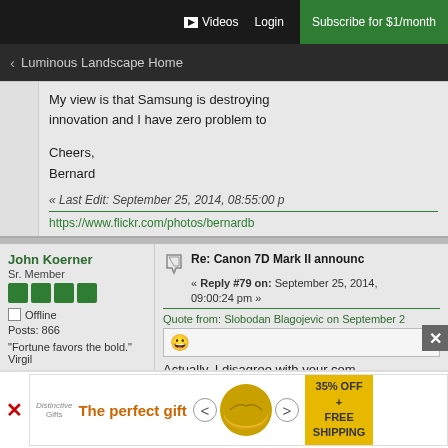Videos  Login  Subscribe for $1/month
< Luminous Landscape Home
My view is that Samsung is destroying innovation and I have zero problem to

Cheers,
Bernard
« Last Edit: September 25, 2014, 08:55:00 p
https://www.flickr.com/photos/bernardb
John Koerner
Sr. Member
Offline
Posts: 866
"Fortune favors the bold." Virgil
Re: Canon 7D Mark II announc
« Reply #79 on: September 25, 2014, 09:00:24 pm »
Quote from: Slobodan Blagojevic on September 2
Actually, I disagree with your com
[Figure (infographic): Advertisement banner: The perfect gift, food product with 35% off + free shipping]